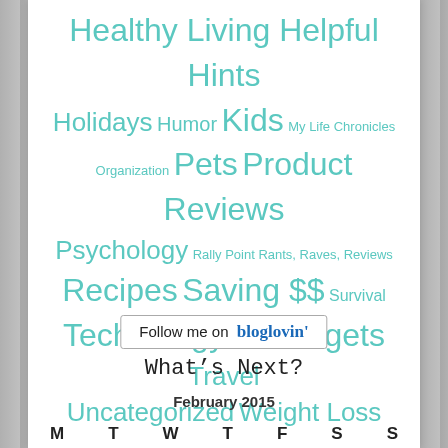[Figure (infographic): Tag cloud with blog category links in teal/turquoise text of varying sizes on white background, set against a wood-texture background. Categories include: Healthy Living Helpful Hints, Holidays, Humor, Kids, My Life Chronicles, Organization, Pets, Product Reviews, Psychology, Rally Point Rants Raves Reviews, Recipes, Saving $$, Survival, Technology & Gadgets, Travel, Uncategorized, Weight Loss]
Follow me on bloglovin'
What's Next?
February 2015
M T W T F S S